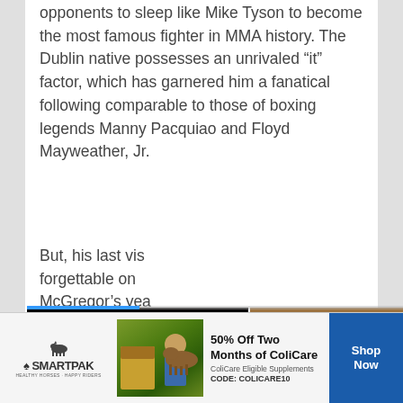opponents to sleep like Mike Tyson to become the most famous fighter in MMA history. The Dublin native possesses an unrivaled “it” factor, which has garnered him a fanatical following comparable to those of boxing legends Manny Pacquiao and Floyd Mayweather, Jr.
But, his last vis... forgettable on... McGregor’s yea... Poirier ended i... Irishman. He no... Louisiana nativ...
[Figure (screenshot): Video popup overlay showing a dark-skinned person's face close-up with a 'Top Articles' label bar and video pause/mute controls at bottom, over article text. Beside it is a photo of a man in a white shirt and blue striped tie with a blue arrow navigation button.]
[Figure (screenshot): Advertisement banner for SmartPak featuring a horse supplement product, showing a woman with a horse, text '50% Off Two Months of ColiCare, ColiCare Eligible Supplements, CODE: COLICARE10' with a 'Shop Now' button.]